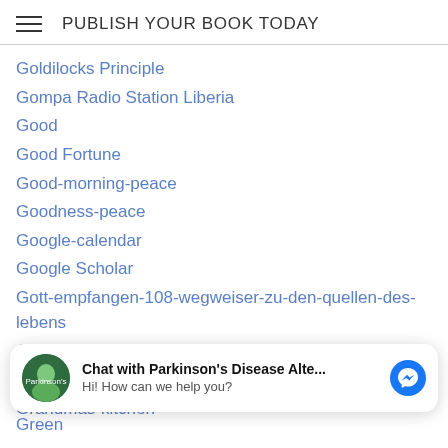PUBLISH YOUR BOOK TODAY
Goldilocks Principle
Gompa Radio Station Liberia
Good
Good Fortune
Good-morning-peace
Goodness-peace
Google-calendar
Google Scholar
Gott-empfangen-108-wegweiser-zu-den-quellen-des-lebens
Graham Robinson
Grammar
Grandmas-kitchen
Chat with Parkinson's Disease Alte...
Hi! How can we help you?
Green